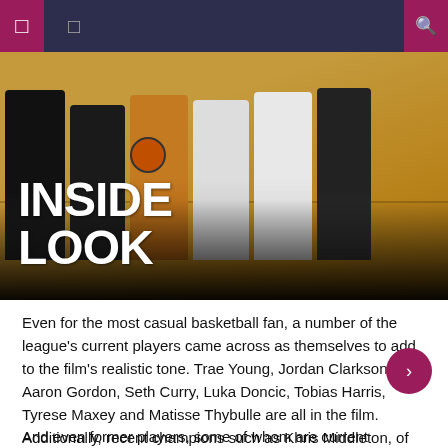INSIDE LOOK
[Figure (photo): Basketball players standing on a court, lower bodies visible, one holding a basketball. Text overlay reads INSIDE LOOK in large white bold letters.]
Even for the most casual basketball fan, a number of the league's current players came across as themselves to add to the film's realistic tone. Trae Young, Jordan Clarkson, Aaron Gordon, Seth Curry, Luka Doncic, Tobias Harris, Tyrese Maxey and Matisse Thybulle are all in the film. Additionally, recent champions such as Khris Middleton, of the 2021 NBA champion Milwaukee Bucks, and Kyle Lowry, who won his ring with the Raptors in 2019 have joined the cast.
And even former players, some of whom are current